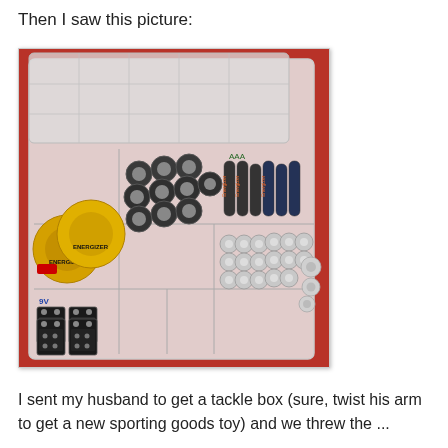Then I saw this picture:
[Figure (photo): A clear plastic tackle/organizer box filled with sorted batteries of various types: AAA batteries standing upright on the right, large D-cell batteries (Energizer) on the left, multiple AA batteries in the center and bottom-right sections, 9-volt batteries in the bottom-left section, and small button/coin cell batteries on the far right, all arranged neatly in the compartments on a red background.]
I sent my husband to get a tackle box (sure, twist his arm to get a new sporting goods toy) and we threw the ...